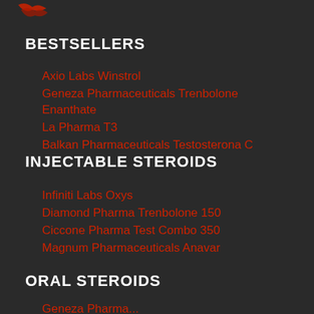[Figure (logo): Red logo/icon in top left corner]
BESTSELLERS
Axio Labs Winstrol
Geneza Pharmaceuticals Trenbolone Enanthate
La Pharma T3
Balkan Pharmaceuticals Testosterona C
INJECTABLE STEROIDS
Infiniti Labs Oxys
Diamond Pharma Trenbolone 150
Ciccone Pharma Test Combo 350
Magnum Pharmaceuticals Anavar
ORAL STEROIDS
Geneza Pharma ...